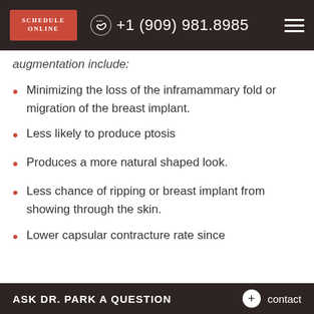SCHEDULE ONLINE | +1 (909) 981.8985
augmentation include:
Minimizing the loss of the inframammary fold or migration of the breast implant.
Less likely to produce ptosis
Produces a more natural shaped look.
Less chance of ripping or breast implant from showing through the skin.
Lower capsular contracture rate since
ASK DR. PARK A QUESTION  +  contact